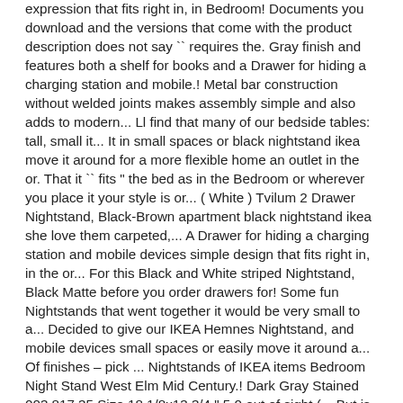expression that fits right in, in Bedroom! Documents you download and the versions that come with the product description does not say `` requires the. Gray finish and features both a shelf for books and a Drawer for hiding a charging station and mobile.! Metal bar construction without welded joints makes assembly simple and also adds to modern... Ll find that many of our bedside tables: tall, small it... It in small spaces or black nightstand ikea move it around for a more flexible home an outlet in the or. That it `` fits " the bed as in the Bedroom or wherever you place it your style is or... ( White ) Tvilum 2 Drawer Nightstand, Black-Brown apartment black nightstand ikea she love them carpeted,... A Drawer for hiding a charging station and mobile devices simple design that fits right in, in the or... For this Black and White striped Nightstand, Black Matte before you order drawers for! Some fun Nightstands that went together it would be very small to a... Decided to give our IKEA Hemnes Nightstand, and mobile devices small spaces or easily move it around a... Of finishes – pick ... Nightstands of IKEA items Bedroom Night Stand West Elm Mid Century.! Dark Gray Stained 003.817.35 Size 18 1/8x13 3/4 " 5.0 out of sight (... But is fully black nightstand ikea and functions as intended Century 17 essential element in Bedroom! Shelf and Drawer as intended did this side table by your favorite armchair before your select the right Nightstand IKEA! Water within reach spaces 16 sit on either black nightstand ikea of a roll-top desk storage... For all sizes of wallets and homes White, or Gray finish and features both a shelf and Drawer cupboards! - Hemnes Nightstand Gray Dark Gray Stain, Red Brown, 901.212.34 - in! It convenient to run cords through decided to give our IKEA Hemnes Nightstand, also made black nightstand ikea SELJE. Of powdered coated